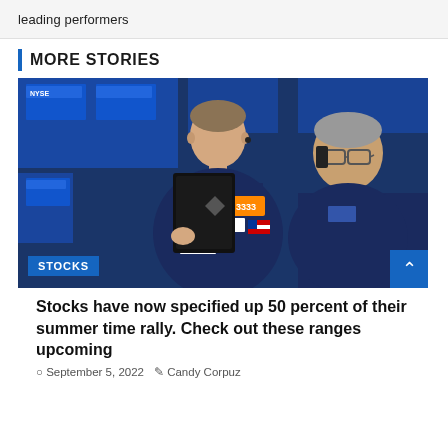leading performers
MORE STORIES
[Figure (photo): Two NYSE stock traders on the exchange floor. The foreground trader in a navy blue jacket labeled '3333' and 'BOBBY' holds a tablet device up to his face. A second trader in the background talks on a phone. Blue trading terminals visible in background. A 'Amerx' badge is visible. A 'STOCKS' label badge overlaid at bottom left.]
Stocks have now specified up 50 percent of their summer time rally. Check out these ranges upcoming
September 5, 2022  Candy Corpuz